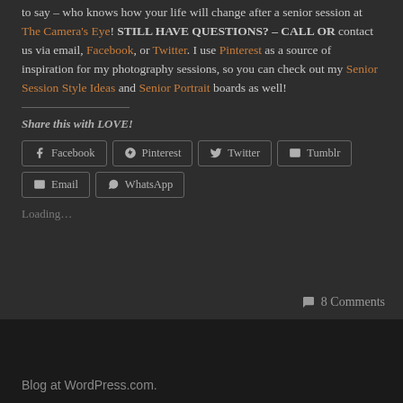to say – who knows how your life will change after a senior session at The Camera's Eye! STILL HAVE QUESTIONS? – CALL OR contact us via email, Facebook, or Twitter. I use Pinterest as a source of inspiration for my photography sessions, so you can check out my Senior Session Style Ideas and Senior Portrait boards as well!
Share this with LOVE!
[Figure (other): Social share buttons: Facebook, Pinterest, Twitter, Tumblr, Email, WhatsApp]
Loading...
8 Comments
Blog at WordPress.com.